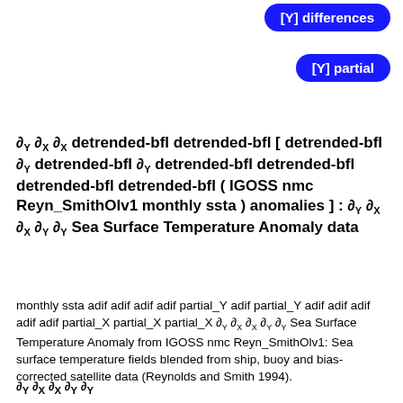[Figure (other): Blue rounded button labeled '[Y] differences']
[Figure (other): Blue rounded button labeled '[Y] partial']
monthly ssta adif adif adif adif partial_Y adif partial_Y adif adif adif adif adif partial_X partial_X partial_X ∂Y ∂X ∂X ∂Y ∂Y Sea Surface Temperature Anomaly from IGOSS nmc Reyn_SmithOlv1: Sea surface temperature fields blended from ship, buoy and bias-corrected satellite data (Reynolds and Smith 1994).
...